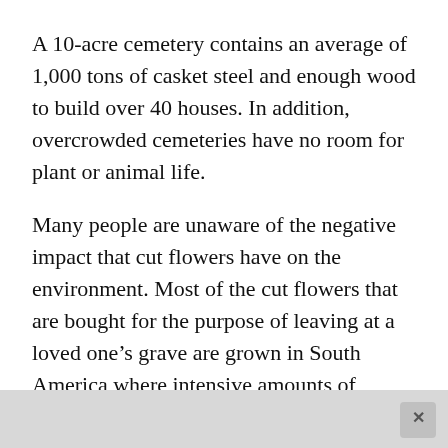A 10-acre cemetery contains an average of 1,000 tons of casket steel and enough wood to build over 40 houses. In addition, overcrowded cemeteries have no room for plant or animal life.
Many people are unaware of the negative impact that cut flowers have on the environment. Most of the cut flowers that are bought for the purpose of leaving at a loved one’s grave are grown in South America where intensive amounts of pesticide are used, some of which are banned in North America.